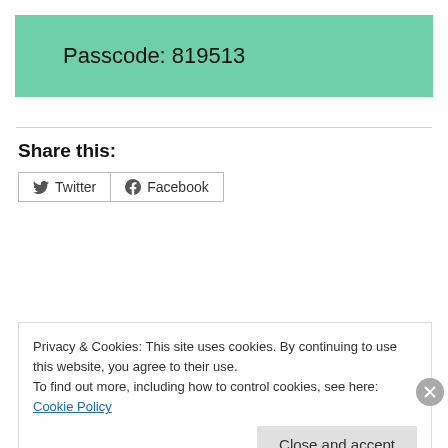Passcode: 819513
Share this:
[Figure (screenshot): Twitter and Facebook share buttons]
Privacy & Cookies: This site uses cookies. By continuing to use this website, you agree to their use.
To find out more, including how to control cookies, see here: Cookie Policy
Close and accept